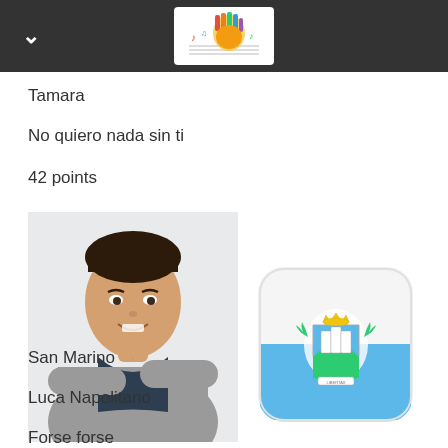Tamara
No quiero nada sin ti
42 points
[Figure (photo): Young man with dark hair, arms crossed, wearing a gray hoodie and a cross necklace, smiling]
[Figure (illustration): San Marino flag icon — rounded square shape, white top half and light blue bottom half with San Marino coat of arms in center]
21
San Marino
Luca Napolitano
Forse forse